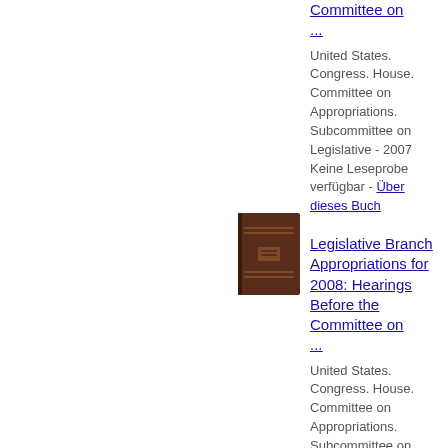Committee on ...
United States. Congress. House. Committee on Appropriations. Subcommittee on Legislative - 2007 Keine Leseprobe verfügbar - Über dieses Buch
[Figure (photo): Brown book cover for Legislative Branch Appropriations for 2008 hearings document]
Legislative Branch Appropriations for 2008: Hearings Before the Committee on ...
United States. Congress. House. Committee on Appropriations. Subcommittee on